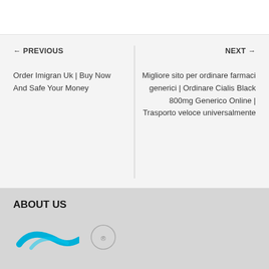← PREVIOUS
Order Imigran Uk | Buy Now And Safe Your Money
NEXT →
Migliore sito per ordinare farmaci generici | Ordinare Cialis Black 800mg Generico Online | Trasporto veloce universalmente
ABOUT US